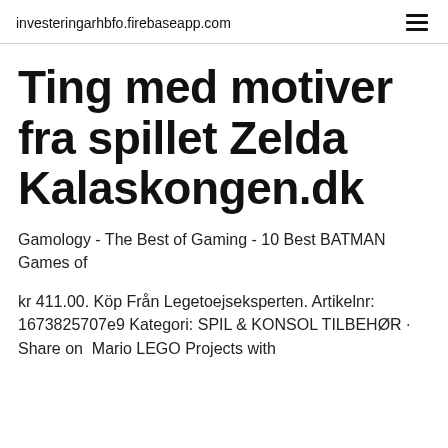investeringarhbfo.firebaseapp.com
Ting med motiver fra spillet Zelda Kalaskongen.dk
Gamology - The Best of Gaming - 10 Best BATMAN Games of
kr 411.00. Köp Från Legetoejseksperten. Artikelnr: 1673825707e9 Kategori: SPIL & KONSOL TILBEHØR · Share on  Mario LEGO Projects with